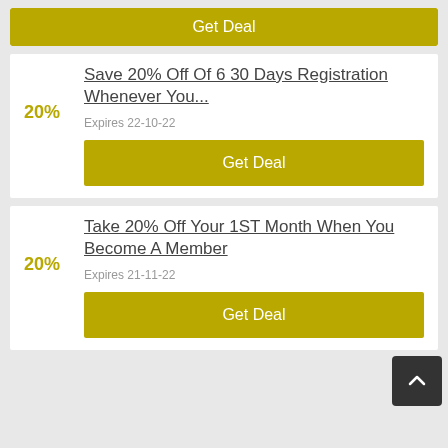Get Deal
Save 20% Off Of 6 30 Days Registration Whenever You...
20%
Expires 22-10-22
Get Deal
Take 20% Off Your 1ST Month When You Become A Member
20%
Expires 21-11-22
Get Deal